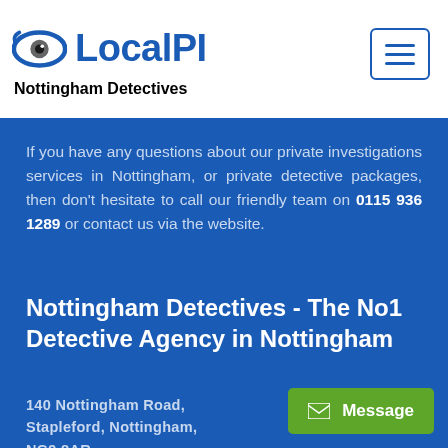LocalPI - Nottingham Detectives
If you have any questions about our private investigations services in Nottingham, or private detective packages, then don't hesitate to call our friendly team on 0115 936 1289 or contact us via the website.
Nottingham Detectives - The No1 Detective Agency in Nottingham
140 Nottingham Road, Stapleford, Nottingham, NG9 8AR.